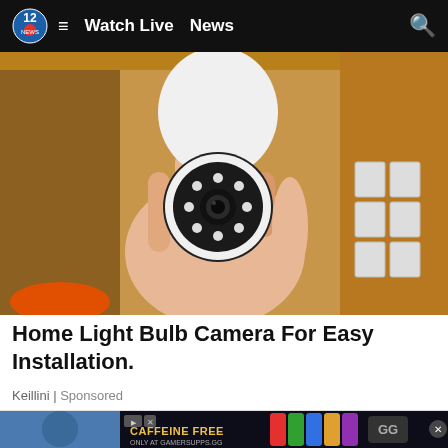12 | Watch Live  News
[Figure (photo): A hand holding a white dome-shaped security camera/light bulb camera with LED ring around the lens, with a shelf and boxes in the background]
Home Light Bulb Camera For Easy Installation.
Keillini | Sponsored
[Figure (photo): Bottom of page showing a partial second article image and an advertisement banner for GamerSupps.gg reading CAFFEINE FREE ONLY AT GAMERSUPPS.GG with colorful product cans]